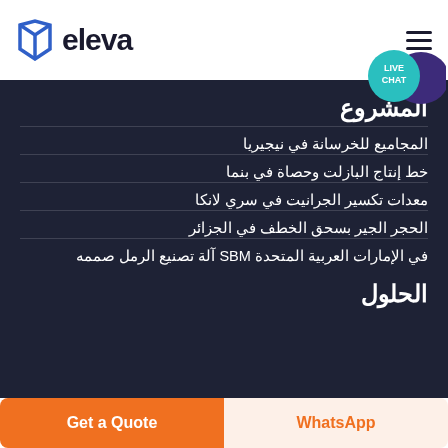eleva
المشروع
المجاميع للخرسانة في نيجيريا
خط إنتاج البازلت وحصاة في بنما
معدات تكسير الجرانيت في سري لانكا
الحجر الجير بسحق الخطف في الجزائر
في الإمارات العربية المتحدة SBM آلة تصنيع الرمل صممه
الحلول
Get a Quote | WhatsApp